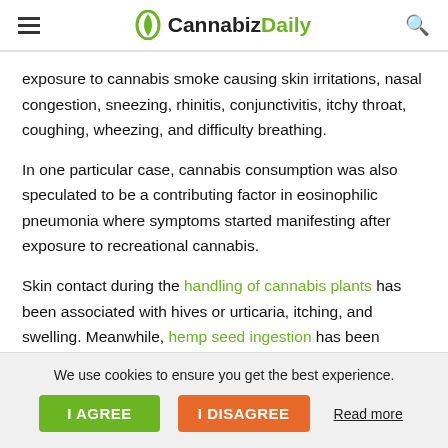CannabizDaily
exposure to cannabis smoke causing skin irritations, nasal congestion, sneezing, rhinitis, conjunctivitis, itchy throat, coughing, wheezing, and difficulty breathing.
In one particular case, cannabis consumption was also speculated to be a contributing factor in eosinophilic pneumonia where symptoms started manifesting after exposure to recreational cannabis.
Skin contact during the handling of cannabis plants has been associated with hives or urticaria, itching, and swelling. Meanwhile, hemp seed ingestion has been
We use cookies to ensure you get the best experience.